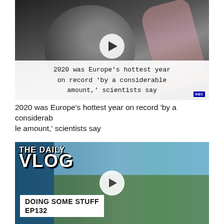[Figure (screenshot): Video thumbnail showing a hand holding a gauge/thermometer instrument with a play button overlay and text overlay reading '2020 was Europe's hottest year on record by a considerable amount, scientists say']
2020 was Europe's hottest year on record 'by a considerab le amount,' scientists say
[Figure (screenshot): Video thumbnail for 'The Daily Vlog' showing a person in a white t-shirt near a gate outdoors, with text 'DOING SOME STUFF EP132' and a play button overlay]